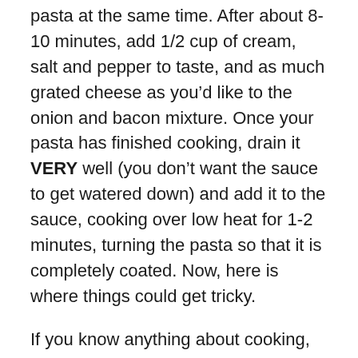pasta at the same time. After about 8-10 minutes, add 1/2 cup of cream, salt and pepper to taste, and as much grated cheese as you’d like to the onion and bacon mixture. Once your pasta has finished cooking, drain it VERY well (you don’t want the sauce to get watered down) and add it to the sauce, cooking over low heat for 1-2 minutes, turning the pasta so that it is completely coated. Now, here is where things could get tricky.
If you know anything about cooking, you'll quickly realize that you need to be careful for this next step- adding raw eggs to a warm pasta. If you make a wrong move the eggs will react the same way I do when I realize I’ve accidentally wandered into the “petite” section of Ann Taylor- they start walking away quickly and stating loudly “Wrong! Wrong! I know I’m not petite! I did not mean to be